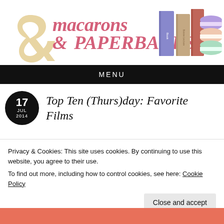[Figure (logo): Macarons & Paperbacks blog logo with illustrated books and macarons]
MENU
Top Ten (Thurs)day: Favorite Films
Privacy & Cookies: This site uses cookies. By continuing to use this website, you agree to their use.
To find out more, including how to control cookies, see here: Cookie Policy
Close and accept